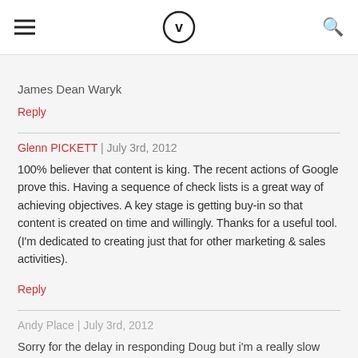V (logo)
James Dean Waryk
Reply
Glenn PICKETT | July 3rd, 2012
100% believer that content is king. The recent actions of Google prove this. Having a sequence of check lists is a great way of achieving objectives. A key stage is getting buy-in so that content is created on time and willingly. Thanks for a useful tool. (I'm dedicated to creating just that for other marketing & sales activities).
Reply
Andy Place | July 3rd, 2012
Sorry for the delay in responding Doug but i'm a really slow